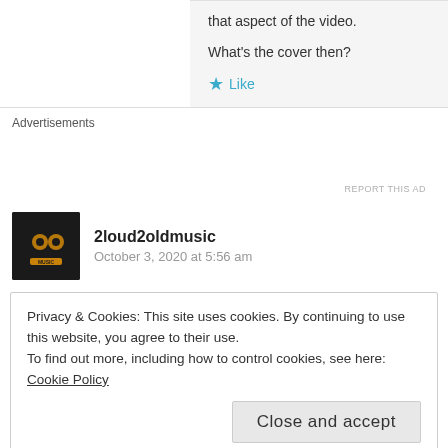that aspect of the video.
What's the cover then?
★ Like
Advertisements
REPORT THIS AD
2loud2oldmusic
October 3, 2020 at 5:56 am
Privacy & Cookies: This site uses cookies. By continuing to use this website, you agree to their use.
To find out more, including how to control cookies, see here: Cookie Policy
Close and accept